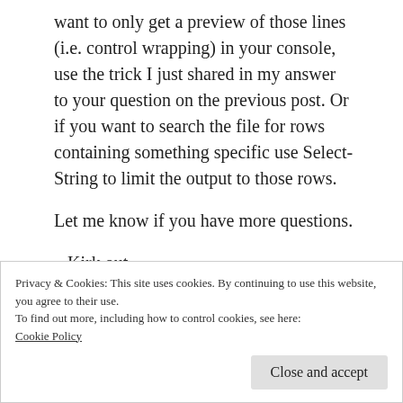want to only get a preview of those lines (i.e. control wrapping) in your console, use the trick I just shared in my answer to your question on the previous post. Or if you want to search the file for rows containing something specific use Select-String to limit the output to those rows.
Let me know if you have more questions.
Kirk out
Privacy & Cookies: This site uses cookies. By continuing to use this website, you agree to their use.
To find out more, including how to control cookies, see here:
Cookie Policy
Close and accept